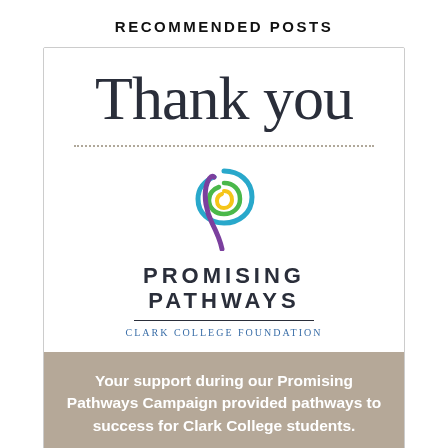RECOMMENDED POSTS
[Figure (illustration): Thank you card with Promising Pathways Clark College Foundation logo — large 'Thank you' text in serif font, dotted line, colorful spiral logo, organization name, and a tan/taupe banner with white text expressing gratitude for campaign support.]
Your support during our Promising Pathways Campaign provided pathways to success for Clark College students.